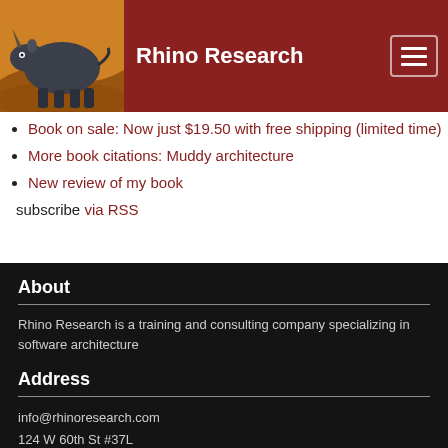Rhino Research
Book on sale: Now just $19.50 with free shipping (limited time)
More book citations: Muddy architecture
New review of my book
subscribe via RSS
About
Rhino Research is a training and consulting company specializing in software architecture
Address
info@rhinoresearch.com
124 W 60th St #37L